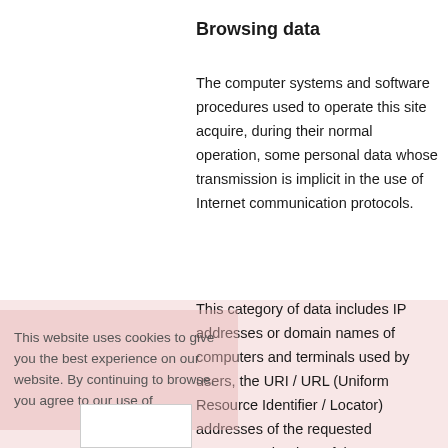Browsing data
The computer systems and software procedures used to operate this site acquire, during their normal operation, some personal data whose transmission is implicit in the use of Internet communication protocols.
This category of data includes IP addresses or domain names of computers and terminals used by users, the URI / URL (Uniform Resource Identifier / Locator) addresses of the requested resources, the time of the request, the method used in the submit the request to the server, the size of the file obtained in response, the numeric code indicating the status of the
This website uses cookies to give you the best experience on our website. By continuing to browse, you agree to our use of